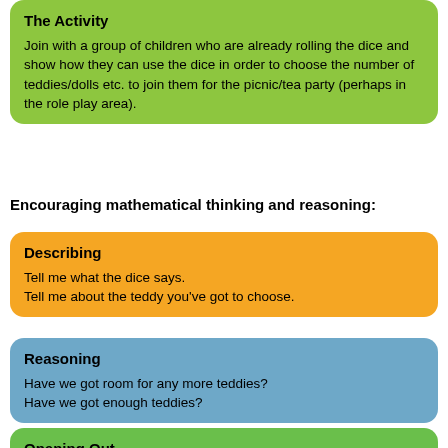The Activity
Join with a group of children who are already rolling the dice and show how they can use the dice in order to choose the number of teddies/dolls etc. to join them for the picnic/tea party (perhaps in the role play area).
Encouraging mathematical thinking and reasoning:
Describing
Tell me what the dice says.
Tell me about the teddy you've got to choose.
Reasoning
Have we got room for any more teddies?
Have we got enough teddies?
Opening Out